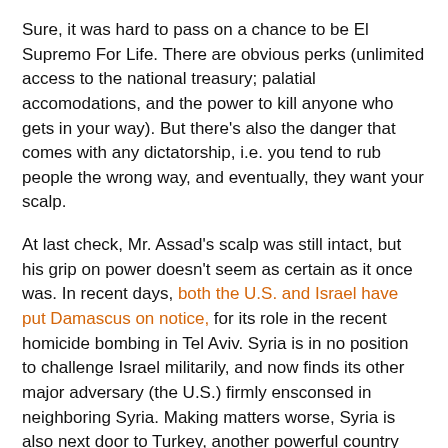Sure, it was hard to pass on a chance to be El Supremo For Life. There are obvious perks (unlimited access to the national treasury; palatial accomodations, and the power to kill anyone who gets in your way). But there's also the danger that comes with any dictatorship, i.e. you tend to rub people the wrong way, and eventually, they want your scalp.
At last check, Mr. Assad's scalp was still intact, but his grip on power doesn't seem as certain as it once was. In recent days, both the U.S. and Israel have put Damascus on notice, for its role in the recent homicide bombing in Tel Aviv. Syria is in no position to challenge Israel militarily, and now finds its other major adversary (the U.S.) firmly ensconsed in neighboring Syria. Making matters worse, Syria is also next door to Turkey, another powerful country with little use for the Assad regime. Turkey almost went to war with Syria in the late 1990s, and maintains a strong military relationship with both the U.S. and Israel.
So what's a dictator to do? Well, for starters, Damascus has suddenly arrested Saddam's step-brother and more than two dozen other members of the former Iraqi regime, who had